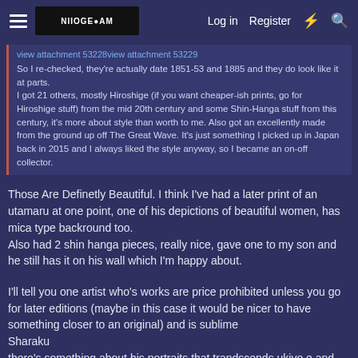Log in  Register
view attachment 53228view attachment 53229
So I re-checked, they're actually date 1851-53 and 1885 and they do look like it at parts.
I got 21 others, mostly Hiroshige (if you want cheaper-ish prints, go for Hiroshige stuff) from the mid 20th century and some Shin-Hanga stuff from this century, it's more about style than worth to me. Also got an excellently made from the ground up off The Great Wave. It's just something I picked up in Japan back in 2015 and I always liked the style anyway, so I became an on-off collector.
Those Are Definetly Beautiful. I think I've had a later print of an utamaru at one point, one of his depictions of beautiful women, has mica type backround too.
Also had 2 shin hanga pieces, really nice, gave one to my son and he still has it on his wall which I'm happy about.
I'll tell you one artist who's works are price prohibited unless you go for later editions (maybe in this case it would be nicer to have something closer to an original) and is sublime
Sharaku
there's something about his portraits that trandscends ukiyo e and japanese art in general